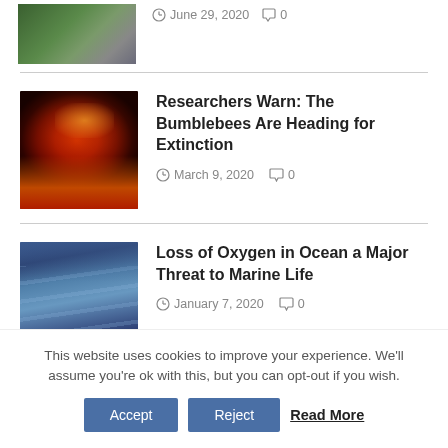[Figure (photo): Partial view of a nature/outdoor image (green and gray tones) at the top, partially cropped]
June 29, 2020  0
[Figure (photo): Close-up macro photo of a bumblebee on a red/orange flower]
Researchers Warn: The Bumblebees Are Heading for Extinction
March 9, 2020  0
[Figure (photo): Blue ocean waves photo]
Loss of Oxygen in Ocean a Major Threat to Marine Life
January 7, 2020  0
This website uses cookies to improve your experience. We'll assume you're ok with this, but you can opt-out if you wish.
Accept  Reject  Read More